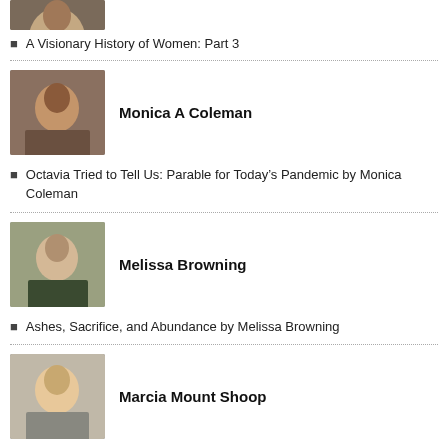[Figure (photo): Partial photo of a person, cropped at top of page]
A Visionary History of Women: Part 3
[Figure (photo): Photo of Monica A Coleman]
Monica A Coleman
Octavia Tried to Tell Us: Parable for Today's Pandemic by Monica Coleman
[Figure (photo): Photo of Melissa Browning]
Melissa Browning
Ashes, Sacrifice, and Abundance by Melissa Browning
[Figure (photo): Photo of Marcia Mount Shoop]
Marcia Mount Shoop
Last Tuesday Night by Marcia Mount Shoop
[Figure (photo): Photo of Michele Stopera Freyhauf]
Michele Stopera Freyhauf
From the Archives: Rape is Not a Political Platform – Rape is a Violent Crime! By Michele Stopera Freyhauf